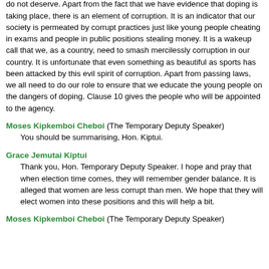people taking advantage of our young people to make money which they do not deserve. Apart from the fact that we have evidence that doping is taking place, there is an element of corruption. It is an indicator that our society is permeated by corrupt practices just like young people cheating in exams and people in public positions stealing money. It is a wakeup call that we, as a country, need to smash mercilessly corruption in our country. It is unfortunate that even something as beautiful as sports has been attacked by this evil spirit of corruption. Apart from passing laws, we all need to do our role to ensure that we educate the young people on the dangers of doping. Clause 10 gives the people who will be appointed to the agency.
Moses Kipkemboi Cheboi (The Temporary Deputy Speaker) You should be summarising, Hon. Kiptui.
Grace Jemutai Kiptui Thank you, Hon. Temporary Deputy Speaker. I hope and pray that when election time comes, they will remember gender balance. It is alleged that women are less corrupt than men. We hope that they will elect women into these positions and this will help a bit.
Moses Kipkemboi Cheboi (The Temporary Deputy Speaker)